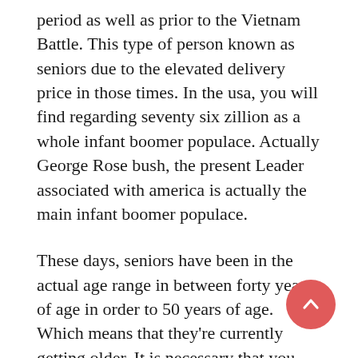period as well as prior to the Vietnam Battle. This type of person known as seniors due to the elevated delivery price in those times. In the usa, you will find regarding seventy six zillion as a whole infant boomer populace. Actually George Rose bush, the present Leader associated with america is actually the main infant boomer populace.
These days, seniors have been in the actual age range in between forty years of age in order to 50 years of age. Which means that they're currently getting older. It is necessary that you should realize that as part of the infant boomer populace, you need to know status upon developments, as well as your own privileges like a resident from the United states.
These days, numerous seniors encounters grow older splendour at work. A few seniors which are competent in order to get the job done aren't recognized through businesses plus some tend to be let go using their present work simply for their grow older as they are considered to be liabilities for it